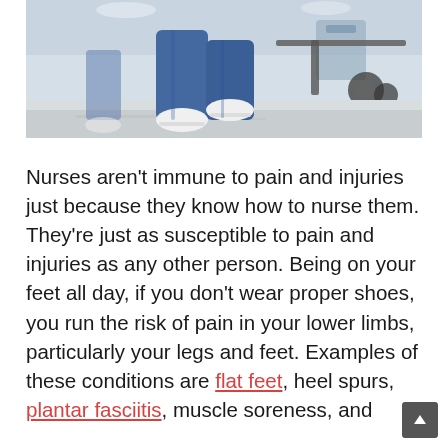[Figure (photo): A nurse or healthcare worker in blue scrubs walking quickly, pushing a wheelchair or cart. Only legs and feet visible from mid-thigh down, wearing white shoes. Hospital corridor floor visible in background.]
Nurses aren't immune to pain and injuries just because they know how to nurse them. They're just as susceptible to pain and injuries as any other person. Being on your feet all day, if you don't wear proper shoes, you run the risk of pain in your lower limbs, particularly your legs and feet. Examples of these conditions are flat feet, heel spurs, plantar fasciitis, muscle soreness, and